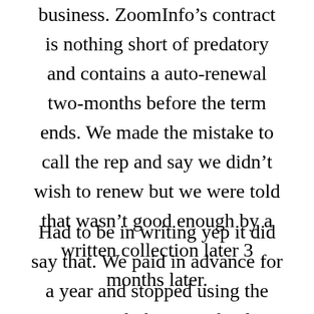business. ZoomInfo’s contract is nothing short of predatory and contains a auto-renewal two-months before the term ends. We made the mistake to call the rep and say we didn’t wish to renew but we were told that wasn’t good enough by a written collection later 3 months later.
Had to be in writing yep it did say that. We paid in advance for a year and stopped using the system early because the data was not useful to us. We serve homeless shelters with